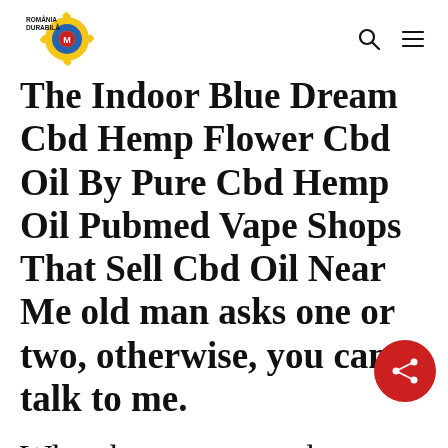România Durabilă — navigation header with logo, search and menu icons
The Indoor Blue Dream Cbd Hemp Flower Cbd Oil By Pure Cbd Hemp Oil Pubmed Vape Shops That Sell Cbd Oil Near Me old man asks one or two, otherwise, you can talk to me.
When he came over, he was blocking the door of the study, staring at a strange man stupidly, his face flushed with shame, and he did not answer the words of promotion, turned around, blushed